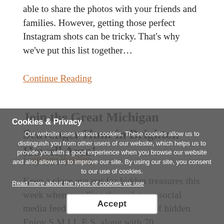able to share the photos with your friends and families. However, getting those perfect Instagram shots can be tricky. That's why we've put this list together…
Continue Reading
Join the Great Michigan Scavenger Hunt in Brighton Howell Area!
May 1, 2022
Keep a close eye out for hidden treasures this week when scrolling through your social media feeds. You'll find all kinds of hidden Enjoy S.M.I.L.E.S. along with 70 destinations around Michigan to celebrate National…
Continue Reading
Cookies & Privacy
Our website uses various cookies. These cookies allow us to distinguish you from other users of our website, which helps us to provide you with a good experience when you browse our website and also allows us to improve our site. By using our site, you consent to our use of cookies.
Read more about the types of cookies we use
Accept